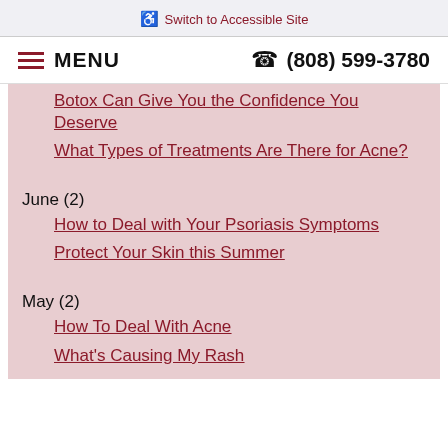♿ Switch to Accessible Site
≡ MENU   ☎ (808) 599-3780
Botox Can Give You the Confidence You Deserve
What Types of Treatments Are There for Acne?
June (2)
How to Deal with Your Psoriasis Symptoms
Protect Your Skin this Summer
May (2)
How To Deal With Acne
What's Causing My Rash